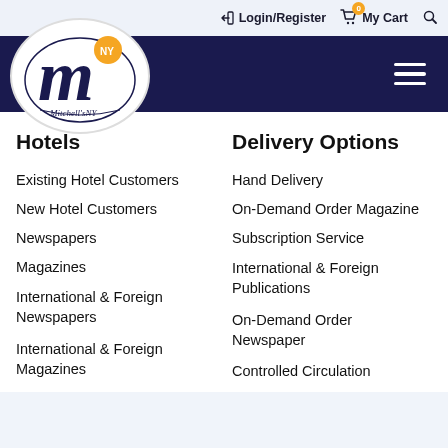Login/Register  My Cart
[Figure (logo): Mitchell's NY logo — large cursive M in navy with orange NY badge, oval border, text MitchellsNY]
Hotels
Delivery Options
Existing Hotel Customers
Hand Delivery
New Hotel Customers
On-Demand Order Magazine
Newspapers
Subscription Service
Magazines
International & Foreign Publications
International & Foreign Newspapers
On-Demand Order Newspaper
International & Foreign Magazines
Controlled Circulation